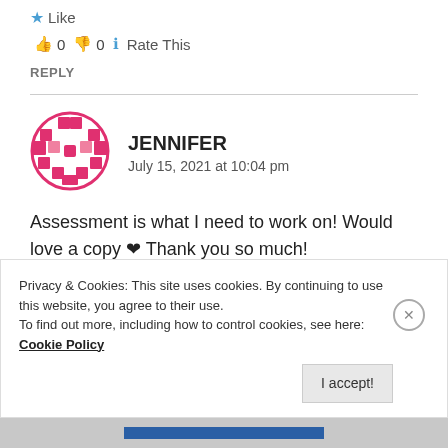★ Like
👍 0 👎 0 ℹ Rate This
REPLY
[Figure (illustration): Pink/red circular avatar with mosaic/checkerboard pattern for user Jennifer]
JENNIFER
July 15, 2021 at 10:04 pm
Assessment is what I need to work on! Would love a copy ❤ Thank you so much!
Privacy & Cookies: This site uses cookies. By continuing to use this website, you agree to their use.
To find out more, including how to control cookies, see here: Cookie Policy
I accept!